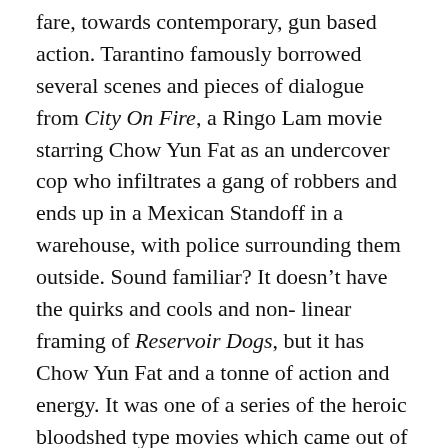fare, towards contemporary, gun based action. Tarantino famously borrowed several scenes and pieces of dialogue from City On Fire, a Ringo Lam movie starring Chow Yun Fat as an undercover cop who infiltrates a gang of robbers and ends up in a Mexican Standoff in a warehouse, with police surrounding them outside. Sound familiar? It doesn't have the quirks and cools and non-linear framing of Reservoir Dogs, but it has Chow Yun Fat and a tonne of action and energy. It was one of a series of the heroic bloodshed type movies which came out of HK in this era, and is one of the best.
17: Planes, Trains, And Automobiles (US)
Likely to be the only Steve Martin vehicle to grace any of my Favourites lists, this one succeeds because of John Hughes, John Candy, and in spite of Martin. Who, to his